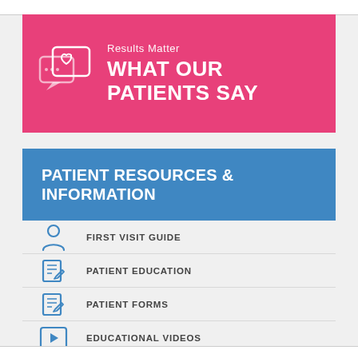[Figure (infographic): Pink banner with chat bubble and heart icon, text 'Results Matter WHAT OUR PATIENTS SAY']
PATIENT RESOURCES & INFORMATION
FIRST VISIT GUIDE
PATIENT EDUCATION
PATIENT FORMS
EDUCATIONAL VIDEOS